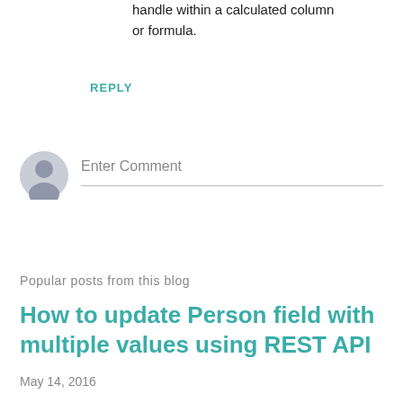handle within a calculated column or formula.
REPLY
[Figure (illustration): User avatar icon — grey silhouette of a person on a light grey circular background]
Enter Comment
Popular posts from this blog
How to update Person field with multiple values using REST API
May 14, 2016